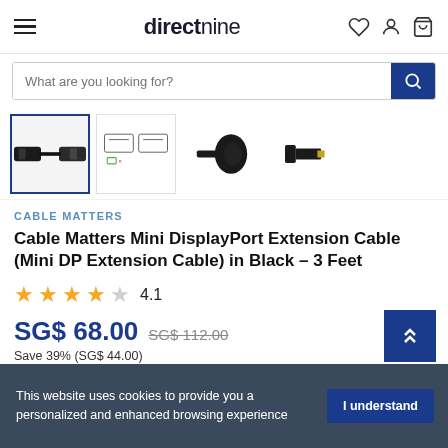directnine
What are you looking for?
[Figure (photo): Product thumbnail images of Cable Matters Mini DisplayPort Extension Cable — four thumbnail images in a row showing the cable from different angles]
CABLE MATTERS
Cable Matters Mini DisplayPort Extension Cable (Mini DP Extension Cable) in Black – 3 Feet
4.1 stars rating
SG$ 68.00  SG$ 112.00
Save 39% (SG$ 44.00)
This website uses cookies to provide you a personalized and enhanced browsing experience